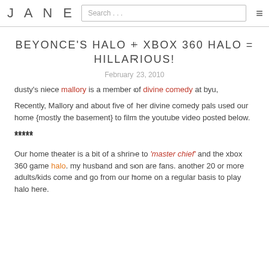JANE
BEYONCE'S HALO + XBOX 360 HALO = HILLARIOUS!
February 23, 2010
dusty's niece mallory is a member of divine comedy at byu,
Recently, Mallory and about five of her divine comedy pals used our home {mostly the basement} to film the youtube video posted below.
*****
Our home theater is a bit of a shrine to 'master chief' and the xbox 360 game halo. my husband and son are fans. another 20 or more adults/kids come and go from our home on a regular basis to play halo here.